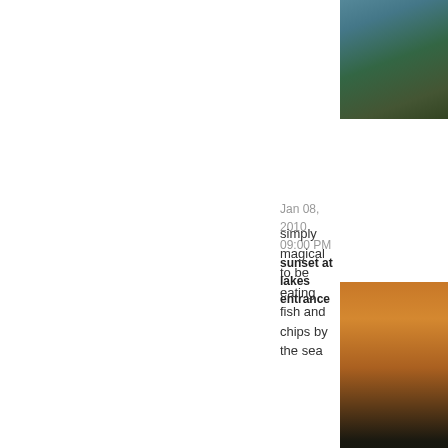[Figure (photo): Partial photo of nature/greenery visible in top-right corner, mostly cropped]
Jan 08, 2010 09:00 PM sunset at lakes entrance
simply magical to be eating fish and chips by the sea
[Figure (photo): Photo of sunset at lakes entrance, orange sky reflected on water with silhouette of shoreline]
Jan 07, 2010 09:00 PM buchan caves
as it was 41deg at the lakes, best to visit the caves to cool down.
[Figure (photo): Photo of Buchan caves interior showing rock formations and possibly water]